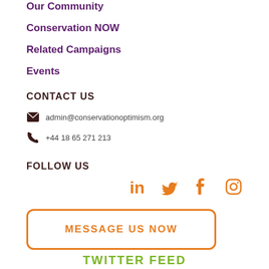Our Community
Conservation NOW
Related Campaigns
Events
CONTACT US
admin@conservationoptimism.org
+44 18 65 271 213
FOLLOW US
[Figure (illustration): Social media icons: LinkedIn, Twitter, Facebook, Instagram in orange]
MESSAGE US NOW
TWITTER FEED